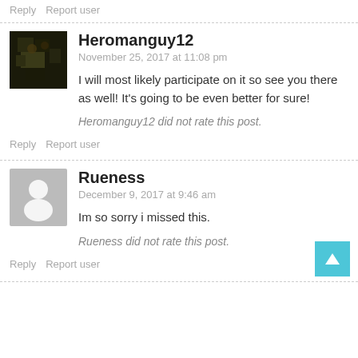Reply   Report user
Heromanguy12
November 25, 2017 at 11:08 pm
I will most likely participate on it so see you there as well! It's going to be even better for sure!
Heromanguy12 did not rate this post.
Reply   Report user
Rueness
December 9, 2017 at 9:46 am
Im so sorry i missed this.
Rueness did not rate this post.
Reply   Report user